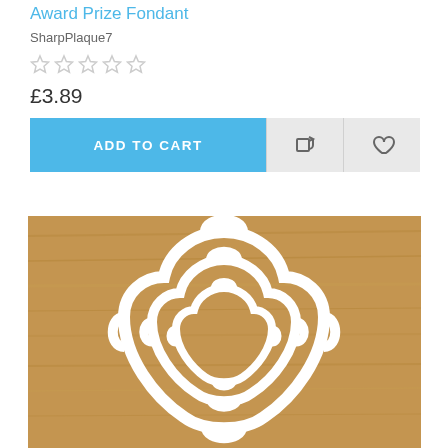Award Prize Fondant
SharpPlaque7
[Figure (other): Five empty star rating icons in a row (no stars filled)]
£3.89
[Figure (other): Add to Cart button (blue) with repeat/compare icon button and heart/wishlist icon button]
[Figure (photo): Photo of three white plastic fondant/cookie cutters in an award plaque shape, nested by size on a wooden background]